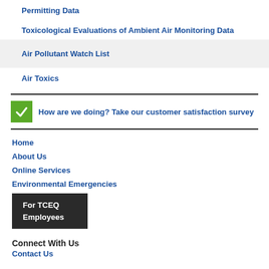Permitting Data
Toxicological Evaluations of Ambient Air Monitoring Data
Air Pollutant Watch List
Air Toxics
How are we doing? Take our customer satisfaction survey
Home
About Us
Online Services
Environmental Emergencies
For TCEQ Employees
Connect With Us
Contact Us